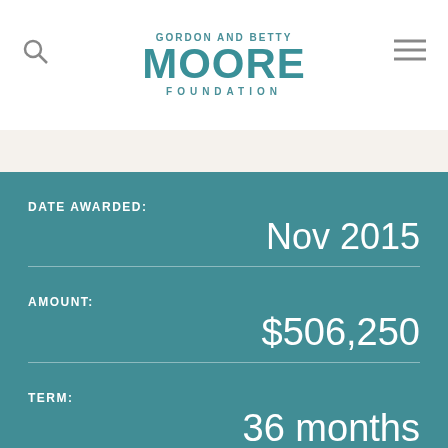[Figure (logo): Gordon and Betty Moore Foundation logo with teal text]
DATE AWARDED:
Nov 2015
AMOUNT:
$506,250
TERM:
36 months